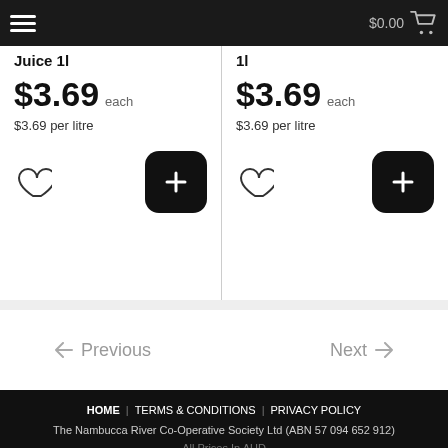$0.00
Juice 1l  $3.69 each  $3.69 per litre
1l  $3.69 each  $3.69 per litre
← Previous   Next →
HOME | TERMS & CONDITIONS | PRIVACY POLICY
The Nambucca River Co-Operative Society Ltd (ABN 57 094 652 912)
All Prices In AUD
FoodWorks Macksville: made by Myfoodlink